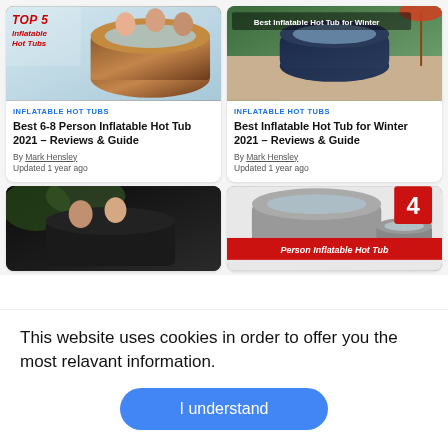[Figure (screenshot): Card image for Top 5 Inflatable Hot Tubs — people sitting in a wooden barrel-style hot tub with text 'TOP 5 Inflatable Hot Tubs' overlay]
INFLATABLE HOT TUBS
Best 6-8 Person Inflatable Hot Tub 2021 – Reviews & Guide
By Mark Hensley
Updated 1 year ago
[Figure (screenshot): Card image for Best Inflatable Hot Tub for Winter — dark blue inflatable hot tub on a patio with text 'Best Inflatable Hot Tub for Winter' overlay]
INFLATABLE HOT TUBS
Best Inflatable Hot Tub for Winter 2021 – Reviews & Guide
By Mark Hensley
Updated 1 year ago
[Figure (screenshot): Partial card image showing two women in a dark square inflatable hot tub outdoors]
[Figure (screenshot): Partial card image for 4 Person Inflatable Hot Tub showing grey inflatable hot tub with red banner text]
This website uses cookies in order to offer you the most relavant information.
I understand